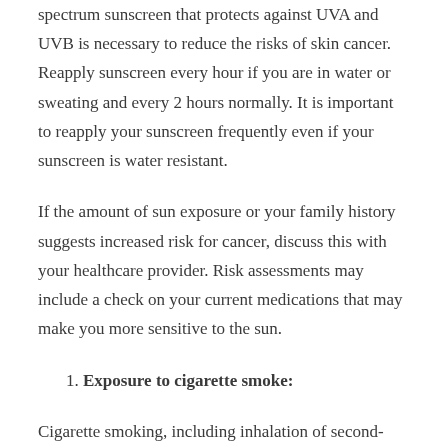spectrum sunscreen that protects against UVA and UVB is necessary to reduce the risks of skin cancer. Reapply sunscreen every hour if you are in water or sweating and every 2 hours normally. It is important to reapply your sunscreen frequently even if your sunscreen is water resistant.
If the amount of sun exposure or your family history suggests increased risk for cancer, discuss this with your healthcare provider. Risk assessments may include a check on your current medications that may make you more sensitive to the sun.
1. Exposure to cigarette smoke:
Cigarette smoking, including inhalation of second-hand smoke, is the leading cause of lung cancer. Cigarette smoke exposes our body to a number of chemical